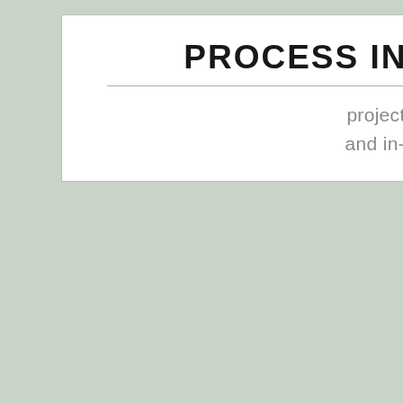[Figure (logo): Process Industry Match logo with tagline 'project news, reports and in-depth analysis']
responsibili...
Separate to... package. T... (ESG) ini... made avai...
About Or...
Oromia Ba... Supervisio... more than ... commercia... to 'Oromia...
About Ak...
Akobo Mi... Gambela r... the public ... mining stu... Akobo Mi... company b... intersected... authorities...